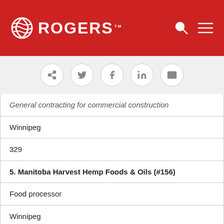ROGERS
| General contracting for commercial construction |
| Winnipeg |
| 329 |
| 5. Manitoba Harvest Hemp Foods & Oils (#156) |
| Food processor |
| Winnipeg |
| 285 |